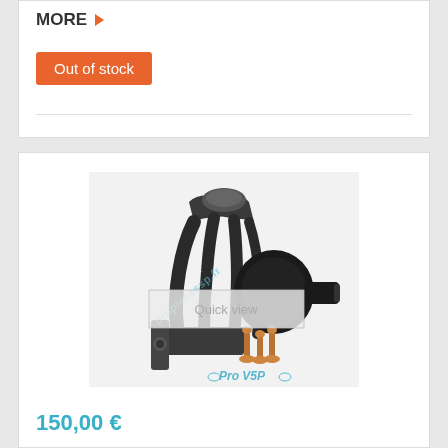MORE ▶
Out of stock
[Figure (photo): Automotive turbocharger/exhaust manifold component with bolts, watermarked with propiecessp.fr and Pro V5P logos, with Quick view overlay]
150,00 €